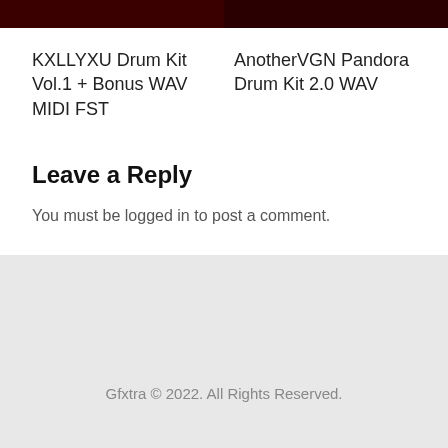[Figure (photo): Two dark/red album art thumbnail images side by side at the top of the card]
KXLLYXU Drum Kit Vol.1 + Bonus WAV MIDI FST
AnotherVGN Pandora Drum Kit 2.0 WAV
Leave a Reply
You must be logged in to post a comment.
Gfxtra © 2022. All Rights Reserved.